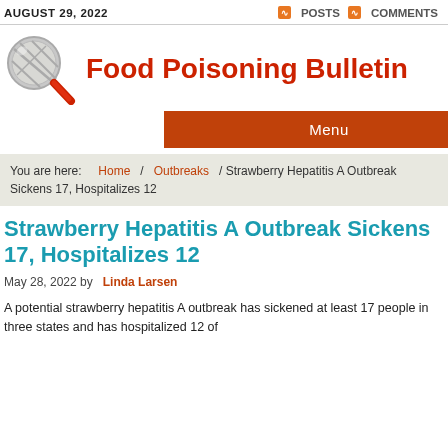AUGUST 29, 2022    POSTS   COMMENTS
[Figure (logo): Magnifying glass logo icon for Food Poisoning Bulletin]
Food Poisoning Bulletin
Menu
You are here:   Home  /  Outbreaks  / Strawberry Hepatitis A Outbreak Sickens 17, Hospitalizes 12
Strawberry Hepatitis A Outbreak Sickens 17, Hospitalizes 12
May 28, 2022 by Linda Larsen
A potential strawberry hepatitis A outbreak has sickened at least 17 people in three states and has hospitalized 12 of